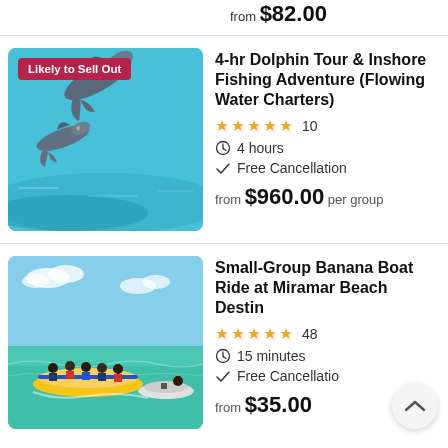from $82.00
[Figure (photo): Dolphins jumping in turquoise water with 'Likely to Sell Out' badge]
4-hr Dolphin Tour & Inshore Fishing Adventure (Flowing Water Charters)
★★★★★ 10
4 hours
Free Cancellation
from $960.00 per group
[Figure (photo): Group of people riding a yellow banana boat at Miramar Beach Destin with a jet ski nearby]
Small-Group Banana Boat Ride at Miramar Beach Destin
★★★★★ 48
15 minutes
Free Cancellation
from $35.00